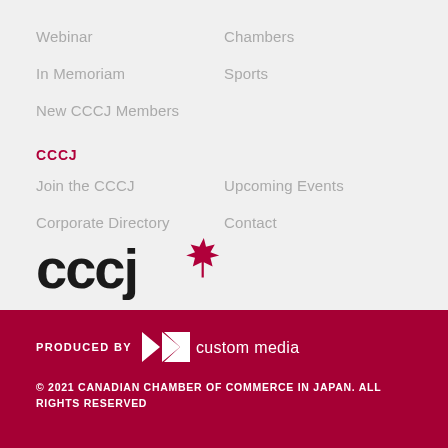Webinar
Chambers
In Memoriam
Sports
New CCCJ Members
CCCJ
Join the CCCJ
Upcoming Events
Corporate Directory
Contact
[Figure (logo): CCCJ logo with maple leaf]
PRODUCED BY custom media
© 2021 CANADIAN CHAMBER OF COMMERCE IN JAPAN. ALL RIGHTS RESERVED